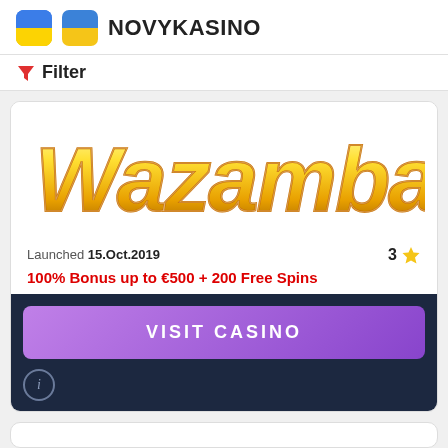NOVYKASINO
Filter
[Figure (logo): Wazamba casino logo — large stylized yellow/gold 3D text on white background]
Launched 15.Oct.2019   3 ★
100% Bonus up to €500 + 200 Free Spins
VISIT CASINO